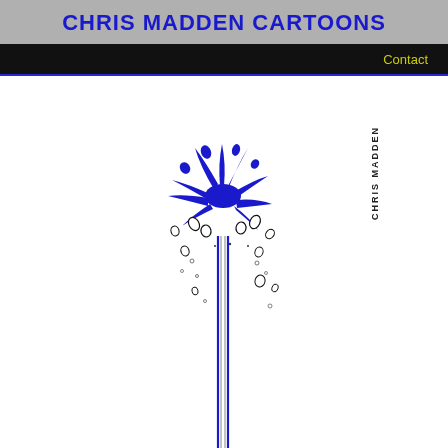CHRIS MADDEN CARTOONS
Contact
[Figure (illustration): A cartoon illustration of a water splash or explosion at the top of two vertical blue lines (like rails or pipes), with blue splash droplets and black outlined water drops scattered around. The vertical blue lines extend from the bottom of the image upward, terminating in a large blue water splash. A vertical text watermark reads 'CHRIS MADDEN'.]